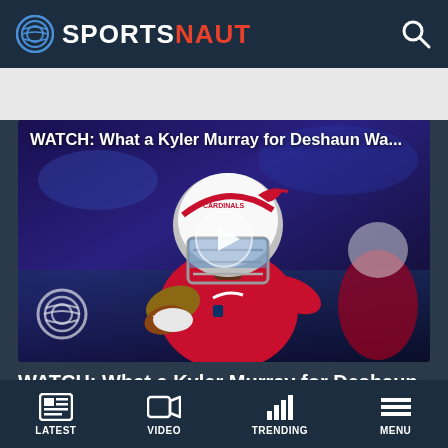SPORTSNAUT
[Figure (screenshot): Video thumbnail showing Arizona Cardinals quarterback Kyler Murray in red jersey holding a football in throwing stance, wearing white helmet. Overlay text: WATCH: What a Kyler Murray for Deshaun Wa... with a play button in the center and Sportsnaut watermark logo in bottom left.]
WATCH: What a Kyler Murray for Deshaun Watson
LATEST   VIDEO   TRENDING   MENU